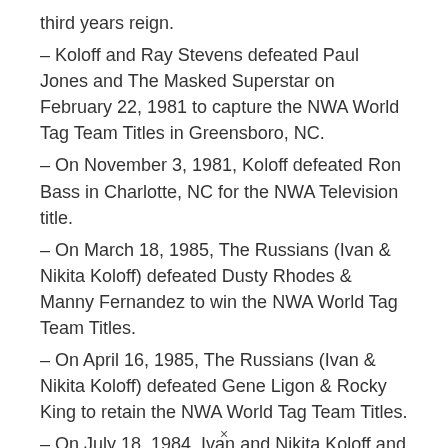third years reign.
– Koloff and Ray Stevens defeated Paul Jones and The Masked Superstar on February 22, 1981 to capture the NWA World Tag Team Titles in Greensboro, NC.
– On November 3, 1981, Koloff defeated Ron Bass in Charlotte, NC for the NWA Television title.
– On March 18, 1985, The Russians (Ivan & Nikita Koloff) defeated Dusty Rhodes & Manny Fernandez to win the NWA World Tag Team Titles.
– On April 16, 1985, The Russians (Ivan & Nikita Koloff) defeated Gene Ligon & Rocky King to retain the NWA World Tag Team Titles.
– On July 18, 1984, Ivan and Nikita Koloff and Don Kernodle defeated Rufus R. Jones, Angelo Mosca, Jr. and Tom Shaft to capture the NWA World Six Man Tag Team Titles.
×